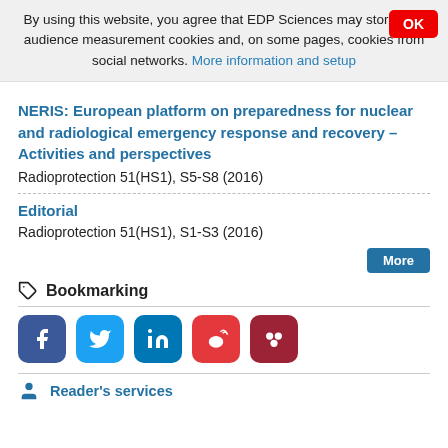By using this website, you agree that EDP Sciences may store web audience measurement cookies and, on some pages, cookies from social networks. More information and setup
NERIS: European platform on preparedness for nuclear and radiological emergency response and recovery – Activities and perspectives
Radioprotection 51(HS1), S5-S8 (2016)
Editorial
Radioprotection 51(HS1), S1-S3 (2016)
More
Bookmarking
[Figure (infographic): Social media sharing icons: Facebook (blue), Twitter (light blue), LinkedIn (blue), Weibo (red), Mendeley (dark red)]
Reader's services